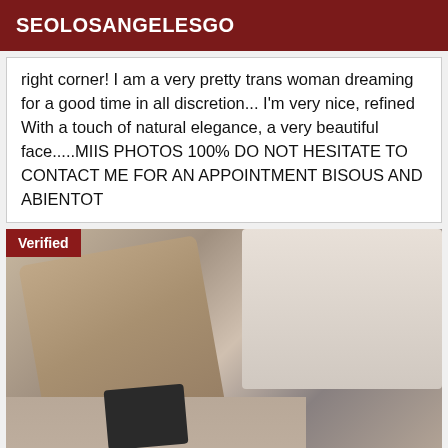SEOLOSANGELESGO
right corner! I am a very pretty trans woman dreaming for a good time in all discretion... I'm very nice, refined With a touch of natural elegance, a very beautiful face.....MIIS PHOTOS 100% DO NOT HESITATE TO CONTACT ME FOR AN APPOINTMENT BISOUS AND ABIENTOT
[Figure (photo): A photo with a 'Verified' badge in the top-left corner showing a person in a bathroom/mirror selfie setting]